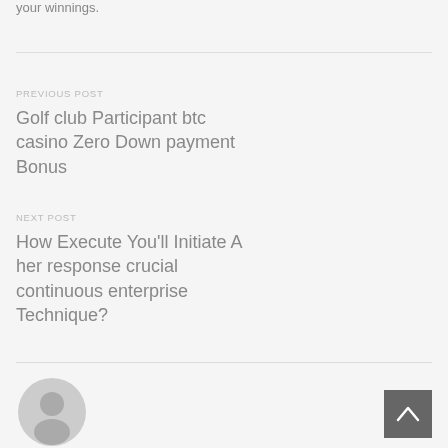your winnings.
PREVIOUS POST
Golf club Participant btc casino Zero Down payment Bonus
NEXT POST
How Execute You'll Initiate A her response crucial continuous enterprise Technique?
[Figure (illustration): Gray circular user avatar icon]
[Figure (other): Dark gray back-to-top button with upward arrow]